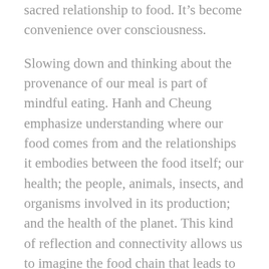sacred relationship to food. It’s become convenience over consciousness.
Slowing down and thinking about the provenance of our meal is part of mindful eating. Hanh and Cheung emphasize understanding where our food comes from and the relationships it embodies between the food itself; our health; the people, animals, insects, and organisms involved in its production; and the health of the planet. This kind of reflection and connectivity allows us to imagine the food chain that leads to our mouths and stomachs. It prompts us to seek more locally-grown options where the connections are more direct, as well as organic and less processed items.